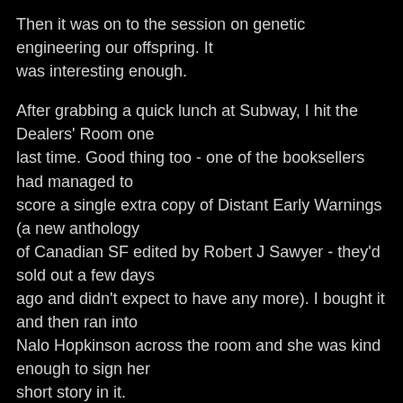Then it was on to the session on genetic engineering our offspring. It was interesting enough.
After grabbing a quick lunch at Subway, I hit the Dealers' Room one last time. Good thing too - one of the booksellers had managed to score a single extra copy of Distant Early Warnings (a new anthology of Canadian SF edited by Robert J Sawyer - they'd sold out a few days ago and didn't expect to have any more). I bought it and then ran into Nalo Hopkinson across the room and she was kind enough to sign her short story in it.
At that point, I headed to my last session of the day: Dealing with Disasters. Lots of spirited discussion in this one - especially when